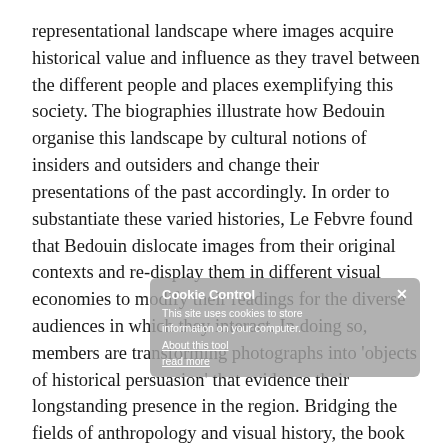representational landscape where images acquire historical value and influence as they travel between the different people and places exemplifying this society. The biographies illustrate how Bedouin organise this landscape by cultural notions of insiders and outsiders and change their presentations of the past accordingly. In order to substantiate these varied histories, Le Febvre found that Bedouin dislocate images from their original contexts and re-display them in different visual economies to modify their readings for the diverse audiences in which they interact. In doing so, members are transforming photographs into 'objects of historical persuasion' that evidence their longstanding presence in the region. Bridging the fields of anthropology and visual history, the book offers both new insights in Bedouin Studies and a novel approach to the study of photography in the Middle East.

Le Febvre has received several awards for her research including the Palestinian American Research Fellowship (2011-2012) and the Wenner-Gren Dissertation Fellowship